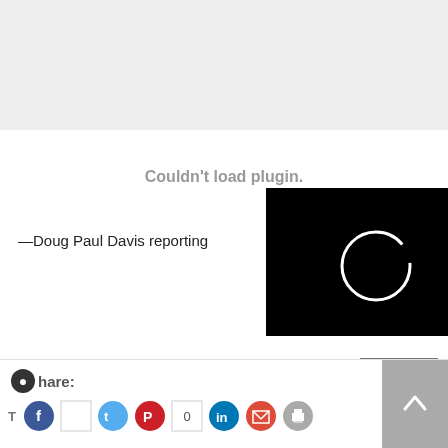[Figure (screenshot): Gray top banner area, similar to an ad or header placeholder]
Couldn't load plugin.
[Figure (screenshot): Black video player overlay with white circular loading spinner and a close (X) button in top right corner]
—Doug Paul Davis reporting
[Figure (screenshot): CLOSE button in gray, bottom right of overlay]
Share:
[Figure (screenshot): Row of social sharing icons: Facebook, blank, Twitter, Pinterest, counter showing 0, LinkedIn, Email, Print]
[Figure (screenshot): Scroll-to-top button on the right, gray with upward arrow]